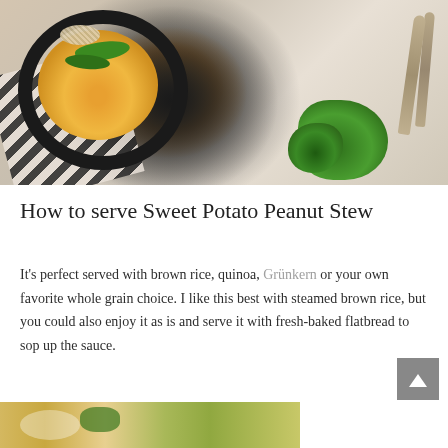[Figure (photo): Overhead/top-down photo of a bowl of Sweet Potato Peanut Stew on a dark plate, with a striped linen cloth, silverware, and fresh herb garnish on a white surface.]
How to serve Sweet Potato Peanut Stew
It’s perfect served with brown rice, quinoa, Grünkern or your own favorite whole grain choice. I like this best with steamed brown rice, but you could also enjoy it as is and serve it with fresh-baked flatbread to sop up the sauce.
[Figure (photo): Partial view of another photo of the Sweet Potato Peanut Stew, cropped at the bottom of the page.]